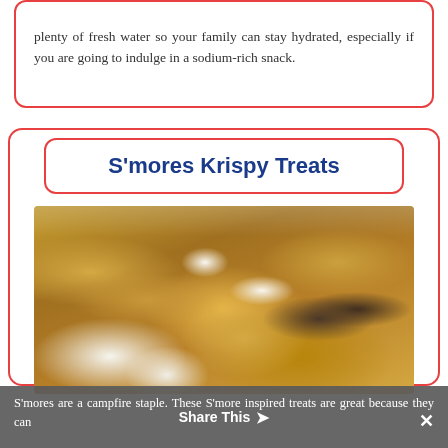plenty of fresh water so your family can stay hydrated, especially if you are going to indulge in a sodium-rich snack.
S'mores Krispy Treats
[Figure (photo): S'mores Krispy Treats — stacked rice crispy treat bars with marshmallows and Hershey chocolate pieces on a decorative plate]
S'mores are a campfire staple. These S'more inspired treats are great because they can